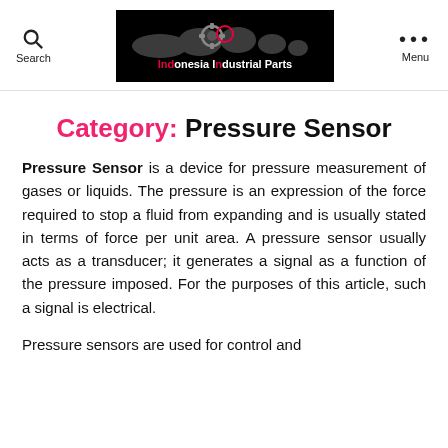Search | Indonesia Industrial Parts | Menu
Category: Pressure Sensor
Pressure Sensor is a device for pressure measurement of gases or liquids. The pressure is an expression of the force required to stop a fluid from expanding and is usually stated in terms of force per unit area. A pressure sensor usually acts as a transducer; it generates a signal as a function of the pressure imposed. For the purposes of this article, such a signal is electrical.
Pressure sensors are used for control and